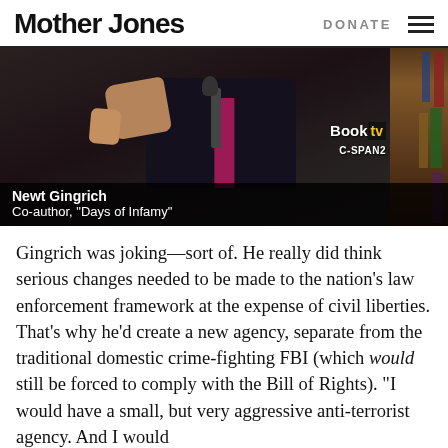Mother Jones | DONATE
[Figure (screenshot): C-SPAN2 BookTV screenshot of Newt Gingrich speaking at a podium. Lower-third chyron reads: 'Newt Gingrich / Co-author, "Days of Infamy"'. BookTV / C-SPAN2 logo visible in upper right.]
Gingrich was joking—sort of. He really did think serious changes needed to be made to the nation's law enforcement framework at the expense of civil liberties. That's why he'd create a new agency, separate from the traditional domestic crime-fighting FBI (which would still be forced to comply with the Bill of Rights). "I would have a small, but very aggressive anti-terrorist agency. And I would